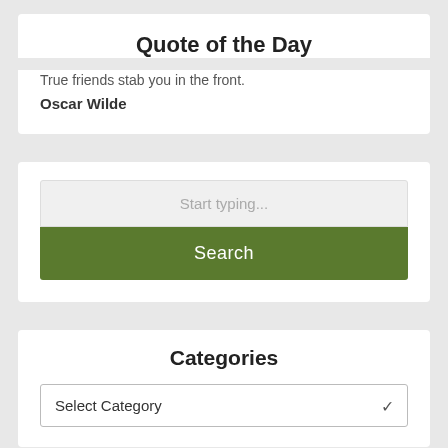Quote of the Day
True friends stab you in the front.
Oscar Wilde
[Figure (screenshot): Search box with placeholder text 'Start typing...' and a green Search button]
Categories
[Figure (screenshot): Select Category dropdown]
[Figure (infographic): Advertisement banner: grainshaares 1.5X Long COIN Daily ETF | CONL 1.5X | coinbase | LEARN MORE button]
Bailout Nation